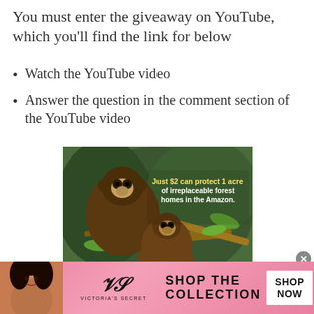You must enter the giveaway on YouTube, which you'll find the link for below
Watch the YouTube video
Answer the question in the comment section of the YouTube video
[Figure (photo): Two capuchin monkeys on a tree branch in a jungle setting. Text overlay reads: 'Just $2 can protect 1 acre of irreplaceable forest homes in the Amazon.' and 'How many acres will you protect?']
[Figure (infographic): Victoria's Secret advertisement banner with model photo, VS logo, 'SHOP THE COLLECTION' text, and 'SHOP NOW' button]